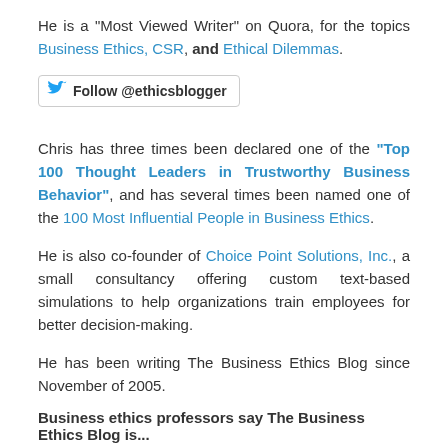He is a "Most Viewed Writer" on Quora, for the topics Business Ethics, CSR, and Ethical Dilemmas.
[Figure (other): Twitter Follow button with bird icon and text 'Follow @ethicsblogger']
Chris has three times been declared one of the "Top 100 Thought Leaders in Trustworthy Business Behavior", and has several times been named one of the 100 Most Influential People in Business Ethics.
He is also co-founder of Choice Point Solutions, Inc., a small consultancy offering custom text-based simulations to help organizations train employees for better decision-making.
He has been writing The Business Ethics Blog since November of 2005.
Business ethics professors say The Business Ethics Blog is...
"...the best thing that ever happened to Business Ethics courses...clear and intelligent presentation of the real ethical stakes behind the current headlines..."
[Prof. Wayne Norman, Duke University]
"...one of the best destinations on the web to send students for